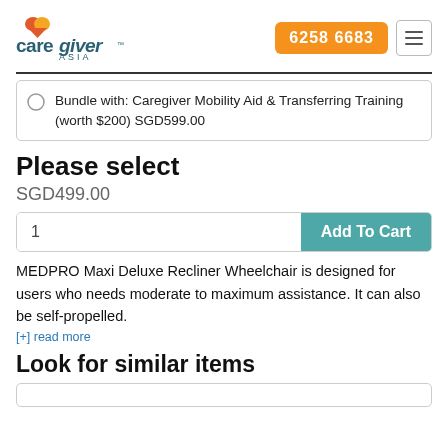[Figure (logo): Caregiver Asia logo with orange/red heart icon and teal text]
6258 6683
Bundle with: Caregiver Mobility Aid & Transferring Training (worth $200) SGD599.00
Please select
SGD499.00
1  Add To Cart
MEDPRO Maxi Deluxe Recliner Wheelchair is designed for users who needs moderate to maximum assistance. It can also be self-propelled.
[+] read more
Look for similar items